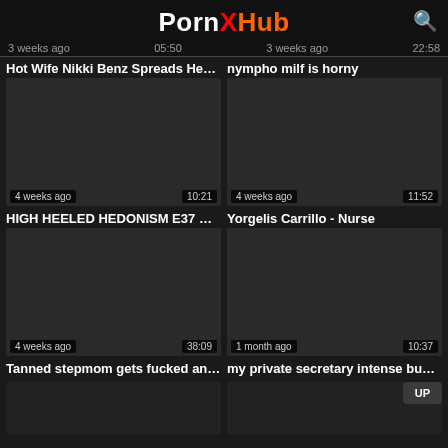PornXHub
3 weeks ago  05:50  3 weeks ago  22:58
Hot Wife Nikki Benz Spreads Her L...  nympho milf is horny
[Figure (screenshot): Video thumbnail dark placeholder, 4 weeks ago, 10:21]
[Figure (screenshot): Video thumbnail dark placeholder, 4 weeks ago, 11:52]
HIGH HEELED HEDONISM E37 Big...  Yorgelis Carrillo - Nurse
[Figure (screenshot): Video thumbnail dark placeholder, 4 weeks ago, 38:09]
[Figure (screenshot): Video thumbnail dark placeholder, 1 month ago, 10:37]
Tanned stepmom gets fucked and ...  my private secretary intense busin...
[Figure (screenshot): Partial video thumbnail dark placeholder bottom]
[Figure (screenshot): Partial video thumbnail dark placeholder bottom]